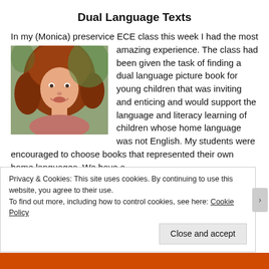Dual Language Texts
In my (Monica) preservice ECE class this week I had the most amazing experience. The class had been given the task of finding a dual language picture book for young children that was inviting and enticing and would support the language and literacy learning of children whose home language was not English. My students were encouraged to choose books that represented their own home languages. We have a
[Figure (photo): Portrait photo of a woman with curly red hair, smiling, with green plants in the background]
Privacy & Cookies: This site uses cookies. By continuing to use this website, you agree to their use.
To find out more, including how to control cookies, see here: Cookie Policy
Close and accept